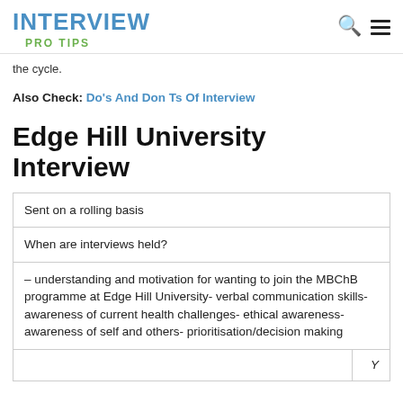INTERVIEW PRO TIPS
the cycle.
Also Check: Do's And Don Ts Of Interview
Edge Hill University Interview
| Sent on a rolling basis |
| When are interviews held? |
| – understanding and motivation for wanting to join the MBChB programme at Edge Hill University- verbal communication skills- awareness of current health challenges- ethical awareness- awareness of self and others- prioritisation/decision making |
|  | Y |